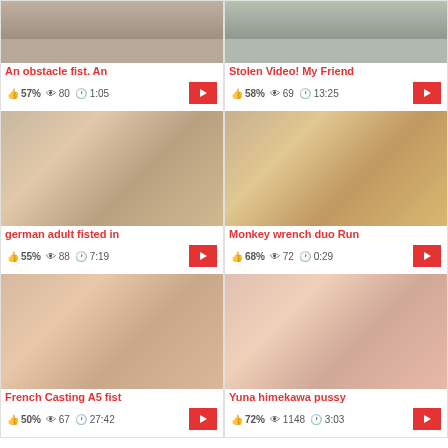[Figure (screenshot): Video thumbnail grid - top partial row showing two video cards]
An obstacle fist. An
57% | 80 views | 1:05
Stolen Video! My Friend
58% | 69 views | 13:25
[Figure (screenshot): german adult fisted in - video thumbnail]
german adult fisted in
55% | 88 views | 7:19
[Figure (screenshot): Monkey wrench duo Run - video thumbnail]
Monkey wrench duo Run
68% | 72 views | 0:29
[Figure (screenshot): French Casting A5 fist - video thumbnail]
French Casting A5 fist
50% | 67 views | 27:42
[Figure (screenshot): Yuna himekawa pussy - video thumbnail]
Yuna himekawa pussy
72% | 1148 views | 3:03